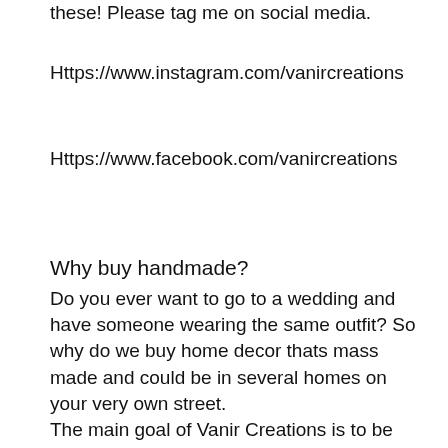these! Please tag me on social media.
Https://www.instagram.com/vanircreations
Https://www.facebook.com/vanircreations
Why buy handmade?
Do you ever want to go to a wedding and have someone wearing the same outfit? So why do we buy home decor thats mass made and could be in several homes on your very own street.
The main goal of Vanir Creations is to be unique to make something you have never seen before, these pieces give the wow factor, they intrigue people and